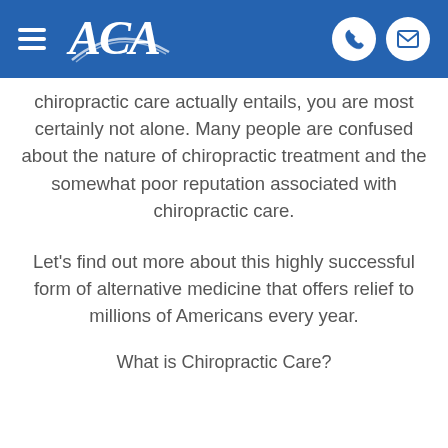ACA [logo] [phone icon] [email icon]
chiropractic care actually entails, you are most certainly not alone. Many people are confused about the nature of chiropractic treatment and the somewhat poor reputation associated with chiropractic care.
Let's find out more about this highly successful form of alternative medicine that offers relief to millions of Americans every year.
What is Chiropractic Care?